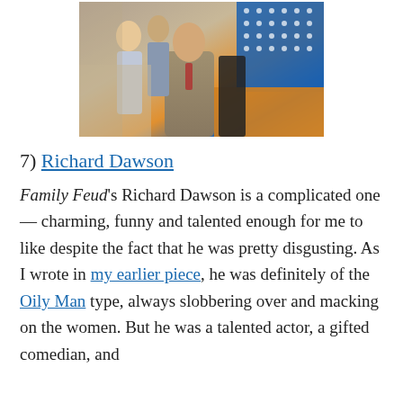[Figure (photo): A man in a brown suit standing on a game show stage, with a woman and man clapping behind him, and a blue/orange game show set background with lights]
7) Richard Dawson
Family Feud's Richard Dawson is a complicated one — charming, funny and talented enough for me to like despite the fact that he was pretty disgusting. As I wrote in my earlier piece, he was definitely of the Oily Man type, always slobbering over and macking on the women. But he was a talented actor, a gifted comedian, and